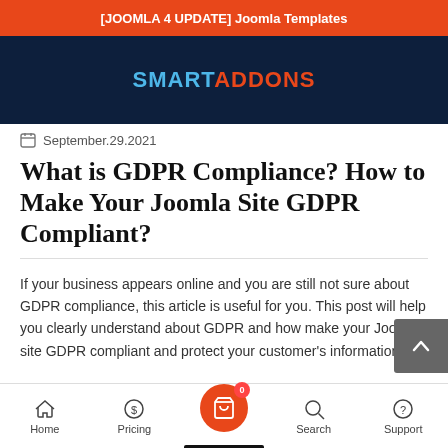[JOOMLA 4 UPDATE] Joomla Templates
[Figure (logo): SMARTADDONS logo on dark navy background]
September.29.2021
What is GDPR Compliance? How to Make Your Joomla Site GDPR Compliant?
If your business appears online and you are still not sure about GDPR compliance, this article is useful for you. This post will help you clearly understand about GDPR and how make your Joomla site GDPR compliant and protect your customer's information.
Home  Pricing  [cart 0]  Search  Support